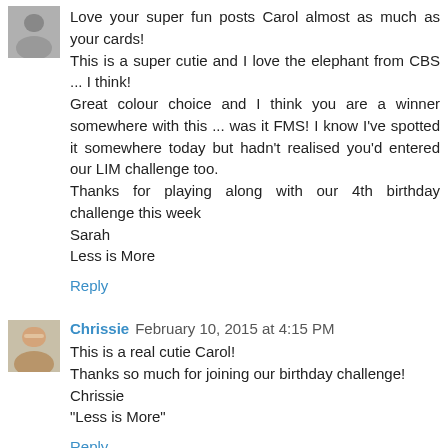[Figure (photo): Small avatar photo of a person, top-left of first comment]
Love your super fun posts Carol almost as much as your cards!
This is a super cutie and I love the elephant from CBS ... I think!
Great colour choice and I think you are a winner somewhere with this ... was it FMS! I know I've spotted it somewhere today but hadn't realised you'd entered our LIM challenge too.
Thanks for playing along with our 4th birthday challenge this week
Sarah
Less is More
Reply
[Figure (photo): Small avatar photo of Chrissie, top-left of second comment]
Chrissie February 10, 2015 at 4:15 PM
This is a real cutie Carol!
Thanks so much for joining our birthday challenge!
Chrissie
"Less is More"
Reply